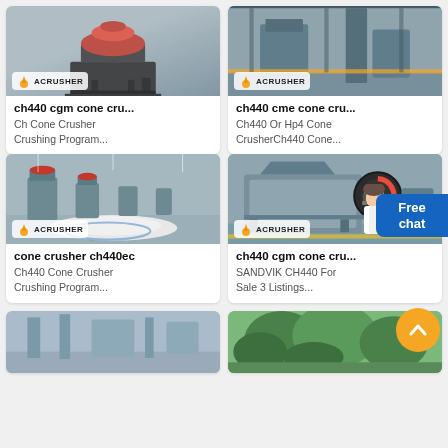[Figure (photo): Cone crusher machine with red top on black frame, Acrusher logo badge]
ch440 cgm cone cru...
Ch Cone Crusher Crushing Program...
[Figure (photo): Industrial factory interior with heavy equipment, Acrusher logo badge]
ch440 cme cone cru...
Ch440 Or Hp4 Cone CrusherCh440 Cone...
[Figure (photo): Factory floor with multiple cone crushers and white aggregate piles, Acrusher logo badge]
cone crusher ch440ec
Ch440 Cone Crusher Crushing Program...
[Figure (photo): Large jaw crusher machine in grey color inside factory, Acrusher logo badge]
ch440 cgm cone cru...
SANDVIK CH440 For Sale 3 Listings...
[Figure (photo): Factory interior bottom left, partially visible]
[Figure (photo): Green trees/vegetation, partially visible]